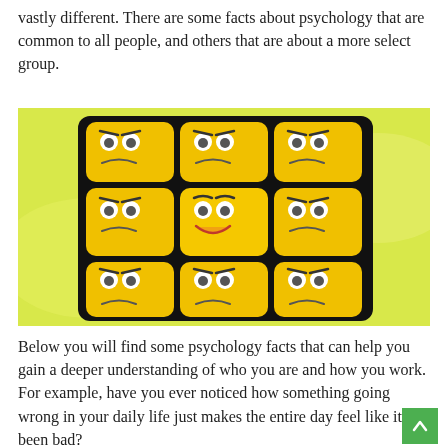vastly different. There are some facts about psychology that are common to all people, and others that are about a more select group.
[Figure (photo): A Rubik's cube-like object made up of 9 yellow square tiles, each displaying a cartoon face with different expressions. Most faces look annoyed or sad, while the center one has a happy smiling expression.]
Below you will find some psychology facts that can help you gain a deeper understanding of who you are and how you work. For example, have you ever noticed how something going wrong in your daily life just makes the entire day feel like it's been bad?